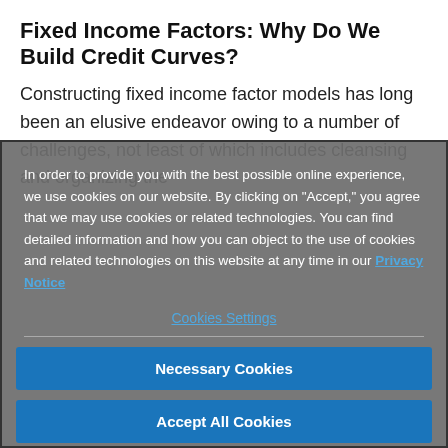Fixed Income Factors: Why Do We Build Credit Curves?
Constructing fixed income factor models has long been an elusive endeavor owing to a number of challenges, not least of which includes cleansing and organizing the
In order to provide you with the best possible online experience, we use cookies on our website. By clicking on "Accept," you agree that we may use cookies or related technologies. You can find detailed information and how you can object to the use of cookies and related technologies on this website at any time in our Privacy Notice
Cookies Settings
Necessary Cookies
Accept All Cookies